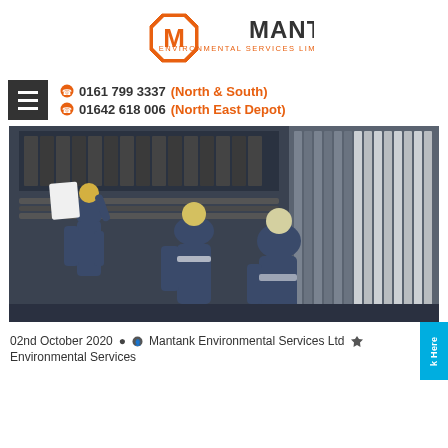[Figure (logo): Mantank Environmental Services Limited logo — orange octagon with M and MANTANK text]
0161 799 3337 (North & South)
01642 618 006 (North East Depot)
[Figure (photo): Workers in blue uniforms and white hard hats examining an electrical control panel]
02nd October 2020  Mantank Environmental Services Ltd  Environmental Services